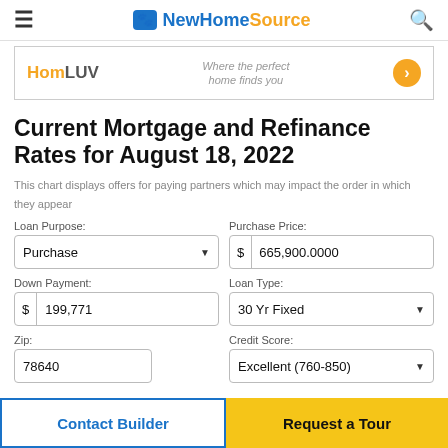NewHomeSource
[Figure (screenshot): HomLuv banner ad: 'Where the perfect home finds you' with arrow button]
Current Mortgage and Refinance Rates for August 18, 2022
This chart displays offers for paying partners which may impact the order in which they appear
Loan Purpose: Purchase | Purchase Price: $ 665,900.0000
Down Payment: $ 199,771 | Loan Type: 30 Yr Fixed
Zip: 78640 | Credit Score: Excellent (760-850)
Contact Builder | Request a Tour